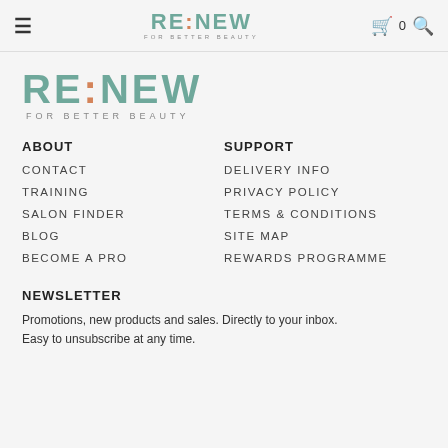RE:NEW FOR BETTER BEAUTY — navigation bar with cart (0) and search icons
[Figure (logo): RE:NEW FOR BETTER BEAUTY brand logo in teal/sage green with orange colon dots]
ABOUT
CONTACT
TRAINING
SALON FINDER
BLOG
BECOME A PRO
SUPPORT
DELIVERY INFO
PRIVACY POLICY
TERMS & CONDITIONS
SITE MAP
REWARDS PROGRAMME
NEWSLETTER
Promotions, new products and sales. Directly to your inbox. Easy to unsubscribe at any time.